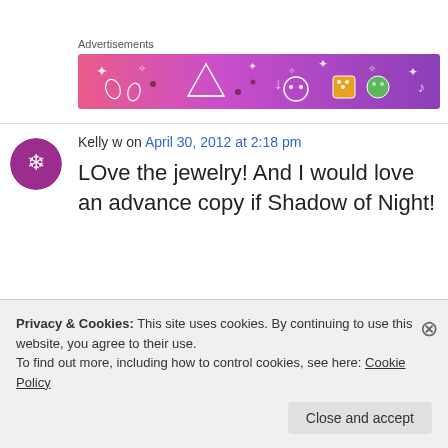Advertisements
[Figure (illustration): Colorful advertisement banner with gradient from pink/orange to purple, featuring doodle-style party/celebration icons: hats, stars, diamonds, musical notes, dice, skull]
Kelly w on April 30, 2012 at 2:18 pm
LOve the jewelry! And I would love an advance copy if Shadow of Night!
Privacy & Cookies: This site uses cookies. By continuing to use this website, you agree to their use. To find out more, including how to control cookies, see here: Cookie Policy